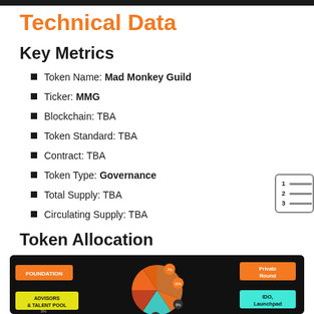Technical Data
Key Metrics
Token Name: Mad Monkey Guild
Ticker: MMG
Blockchain: TBA
Token Standard: TBA
Contract: TBA
Token Type: Governance
Total Supply: TBA
Circulating Supply: TBA
Token Allocation
[Figure (pie-chart): Token allocation donut/pie chart on dark background showing segments for Foundation, Advisors & Talent Pool, Private Round, IDO/Launchpad, and other allocations with percentage labels and colored labels on dark background.]